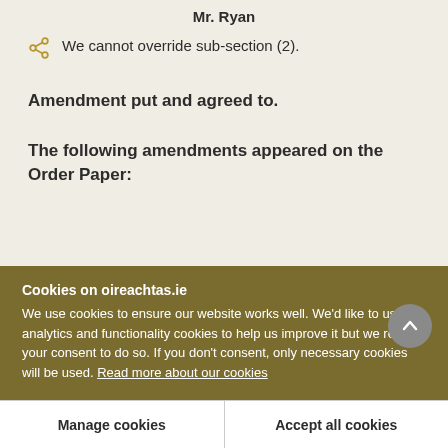Mr. Ryan
We cannot override sub-section (2).
Amendment put and agreed to.
The following amendments appeared on the Order Paper:
Cookies on oireachtas.ie
We use cookies to ensure our website works well. We'd like to use analytics and functionality cookies to help us improve it but we require your consent to do so. If you don't consent, only necessary cookies will be used. Read more about our cookies
Manage cookies
Accept all cookies